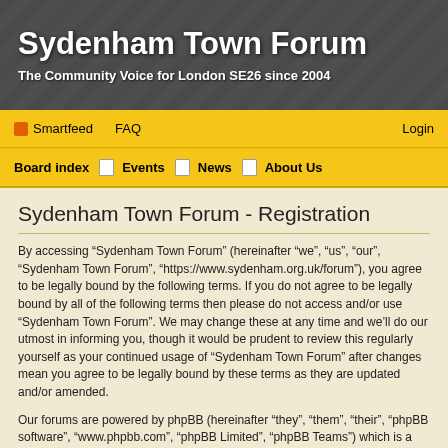Sydenham Town Forum
The Community Voice for London SE26 since 2004
Smartfeed   FAQ   Login
Board index  Events  News  About Us
Sydenham Town Forum - Registration
By accessing “Sydenham Town Forum” (hereinafter “we”, “us”, “our”, “Sydenham Town Forum”, “https://www.sydenham.org.uk/forum”), you agree to be legally bound by the following terms. If you do not agree to be legally bound by all of the following terms then please do not access and/or use “Sydenham Town Forum”. We may change these at any time and we’ll do our utmost in informing you, though it would be prudent to review this regularly yourself as your continued usage of “Sydenham Town Forum” after changes mean you agree to be legally bound by these terms as they are updated and/or amended.
Our forums are powered by phpBB (hereinafter “they”, “them”, “their”, “phpBB software”, “www.phpbb.com”, “phpBB Limited”, “phpBB Teams”) which is a bulletin board solution released under the “GNU General Public License v2” (hereinafter “GPL”) and can be downloaded from www.phpbb.com. The phpBB software only facilitates internet based discussions; phpBB Limited is not responsible for what we allow and/or disallow as permissible content and/or conduct. For further information about phpBB, please see: https://www.phpbb.com/.
You agree not to post any abusive, obscene, vulgar, slanderous, hateful, threatening, sexually-orientated or any other material that may violate any laws be it of your country, the country where “Sydenham Town Forum” is hosted or International Law. Doing so may lead to you being immediately and permanently banned, with notification of your Internet Service Provider if